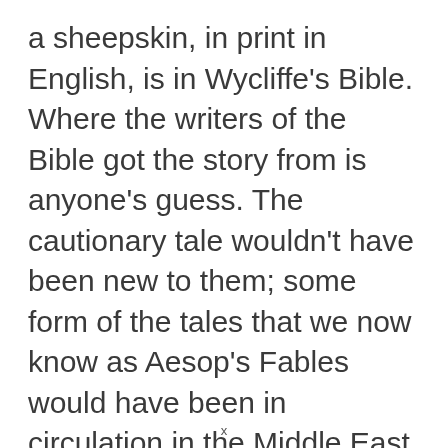a sheepskin, in print in English, is in Wycliffe's Bible. Where the writers of the Bible got the story from is anyone's guess. The cautionary tale wouldn't have been new to them; some form of the tales that we now know as Aesop's Fables would have been in circulation in the Middle East at the time the Bible was recorded.
x